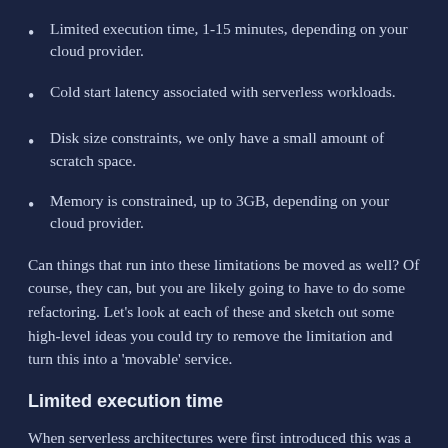Limited execution time, 1-15 minutes, depending on your cloud provider.
Cold start latency associated with serverless workloads.
Disk size constraints, we only have a small amount of scratch space.
Memory is constrained, up to 3GB, depending on your cloud provider.
Can things that run into these limitations be moved as well? Of course, they can, but you are likely going to have to do some refactoring. Let’s look at each of these and sketch out some high-level ideas you could try to remove the limitation and turn this into a ‘movable’ service.
Limited execution time
When serverless architectures were first introduced this was a controversial limitation. We tend to think of